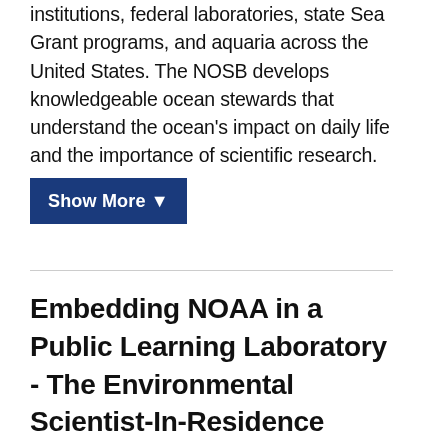institutions, federal laboratories, state Sea Grant programs, and aquaria across the United States. The NOSB develops knowledgeable ocean stewards that understand the ocean's impact on daily life and the importance of scientific research.
Show More ▼
Embedding NOAA in a Public Learning Laboratory - The Environmental Scientist-In-Residence Program at the Exploratorium